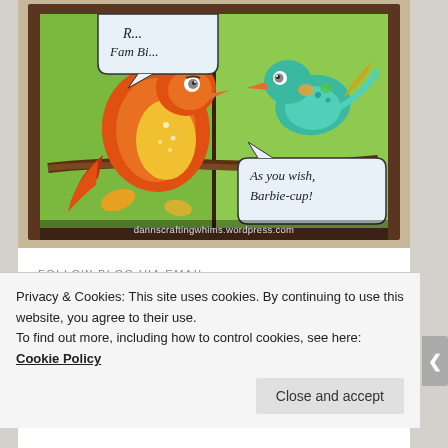[Figure (illustration): A decorative painting on wood panels showing two cartoon-style birds on a branch. A large orange/red bird on the left has a speech bubble saying 'R... Fam Bi...' partially visible. A smaller teal/green bird on the right has a speech bubble saying 'As you wish, Barbie-cup!' Background is green with brown wood border. Watermark reads 'dannscraftingwhims.wordpress.com']
FOLLOW BLOG VIA EMAIL
Enter your email address to follow this blog and receive notifications of new posts by email.
Privacy & Cookies: This site uses cookies. By continuing to use this website, you agree to their use.
To find out more, including how to control cookies, see here: Cookie Policy